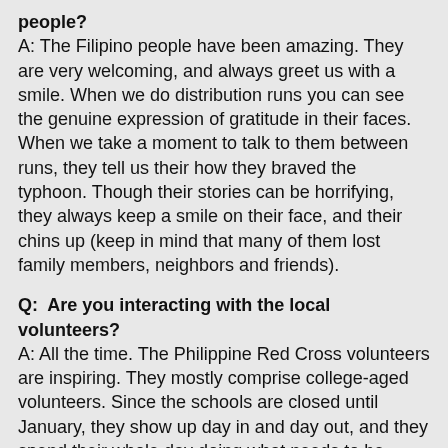people?
A: The Filipino people have been amazing. They are very welcoming, and always greet us with a smile. When we do distribution runs you can see the genuine expression of gratitude in their faces. When we take a moment to talk to them between runs, they tell us their how they braved the typhoon. Though their stories can be horrifying, they always keep a smile on their face, and their chins up (keep in mind that many of them lost family members, neighbors and friends).
Q:  Are you interacting with the local volunteers?
A: All the time. The Philippine Red Cross volunteers are inspiring. They mostly comprise college-aged volunteers. Since the schools are closed until January, they show up day in and day out, and they spend their whole day doing what needs to be done.
Q: Do you have messages for anyone back home?
A: I would like to send a huge Thank You to Kelly McKinney (Greater New York region chief response officer) and Dario Diaz (regional director, planning, readiness and situational